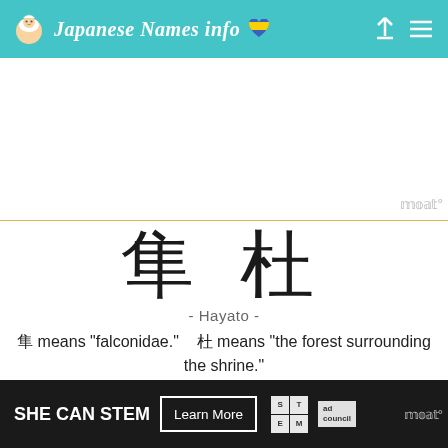Japanese Names info
隼 杜
- Hayato -
隼 means "falconidae."   杜 means "the forest surrounding the shrine."
[Figure (other): Like and heart (favorite) icon buttons]
[Figure (other): SHE CAN STEM advertisement banner with Learn More button, STEM logo, and Ad Council logo]